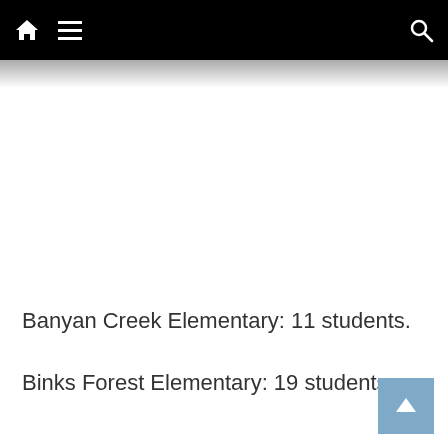Navigation bar with home icon, hamburger menu, and search icon
Banyan Creek Elementary: 11 students.
Binks Forest Elementary: 19 students.